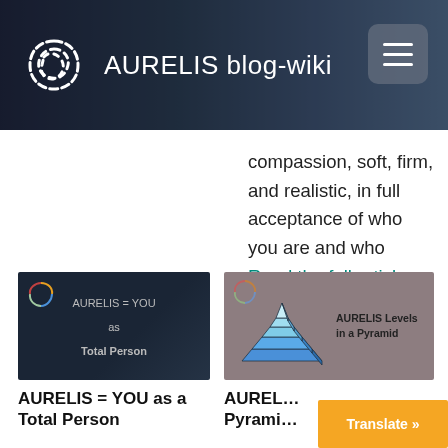AURELIS blog-wiki
compassion, soft, firm, and realistic, in full acceptance of who you are and who Read the full article…
[Figure (screenshot): Dark themed thumbnail showing AURELIS logo and text 'AURELIS = YOU as Total Person']
[Figure (illustration): Pyramid diagram on brownish background with text 'AURELIS Levels in a Pyramid' and colored pyramid layers]
AURELIS = YOU as a Total Person
AUREL… Pyrami…
Translate »